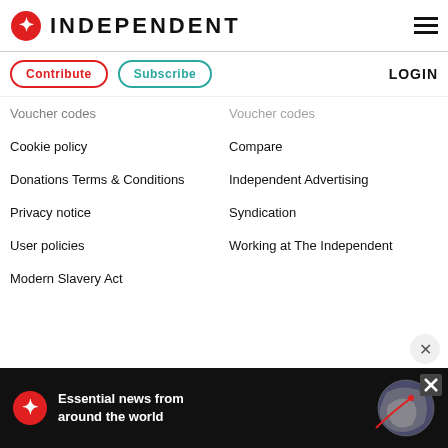INDEPENDENT
Contribute
Subscribe
LOGIN
Voucher codes
Cookie policy
Compare
Donations Terms & Conditions
Independent Advertising
Privacy notice
Syndication
User policies
Working at The Independent
Modern Slavery Act
[Figure (advertisement): Black banner ad with The Independent logo and text: Essential news from around the world, with globe graphic]